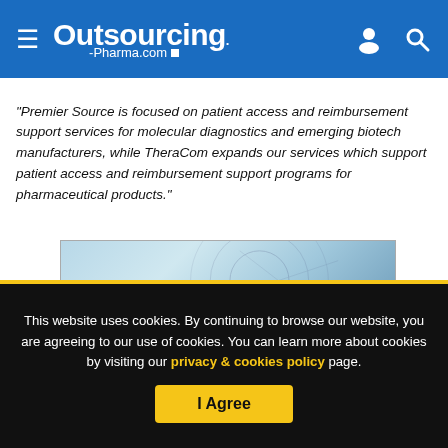Outsourcing-Pharma.com
“Premier Source is focused on patient access and reimbursement support services for molecular diagnostics and emerging biotech manufacturers, while TheraCom expands our services which support patient access and reimbursement support programs for pharmaceutical products.”
[Figure (screenshot): Outsourcing-Pharma.com website banner image showing a logo on a blue background with a digital/tech themed background (tablet/phone with connectivity icons)]
This website uses cookies. By continuing to browse our website, you are agreeing to our use of cookies. You can learn more about cookies by visiting our privacy & cookies policy page.